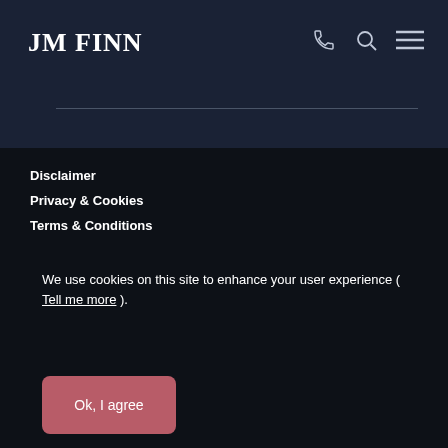JM FINN
Disclaimer
Privacy & Cookies
Terms & Conditions
We use cookies on this site to enhance your user experience ( Tell me more ).
Ok, I agree